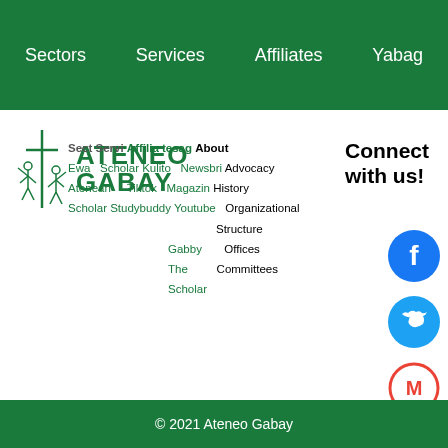Sectors  Services  Affiliates  Yabag
[Figure (logo): Ateneo Gabay logo with green text and illustration of figures]
Sectors Services Affiliates Yabag About
Ewa Scholar Kulito Newsbri Advocacy
Atenean Tiktok Magazine History
Scholar Studybuddy Youtube Organizational Structure
Gabby The Scholar Offices
Committees
Connect with us!
[Figure (other): Facebook, Twitter, and Gmail social media icons]
© 2021 Ateneo Gabay